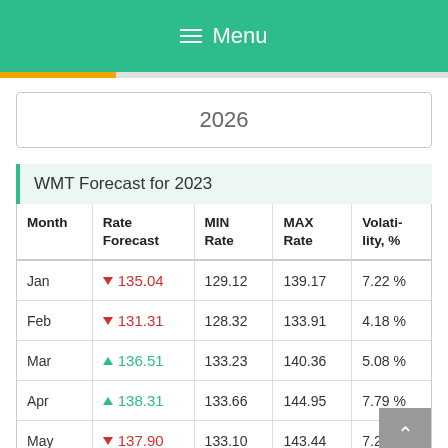☰ Menu
2026
WMT Forecast for 2023
| Month | Rate Forecast | MIN Rate | MAX Rate | Volati-lity, % |
| --- | --- | --- | --- | --- |
| Jan | ▼ 135.04 | 129.12 | 139.17 | 7.22 % |
| Feb | ▼ 131.31 | 128.32 | 133.91 | 4.18 % |
| Mar | ▲ 136.51 | 133.23 | 140.36 | 5.08 % |
| Apr | ▲ 138.31 | 133.66 | 144.95 | 7.79 % |
| May | ▼ 137.90 | 133.10 | 143.44 | 7.21 % |